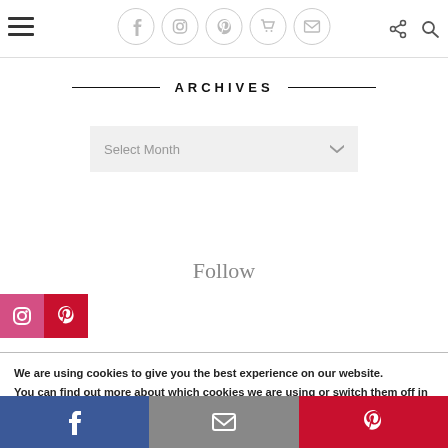Navigation bar with hamburger menu, social icons (Facebook, Instagram, Pinterest, cart, mail), share and search icons
ARCHIVES
Select Month
Follow
[Figure (other): Instagram and Pinterest follow icon buttons (red/pink square icons)]
We are using cookies to give you the best experience on our website.
You can find out more about which cookies we are using or switch them off in settings.
Bottom share bar with Facebook, Email, and Pinterest buttons